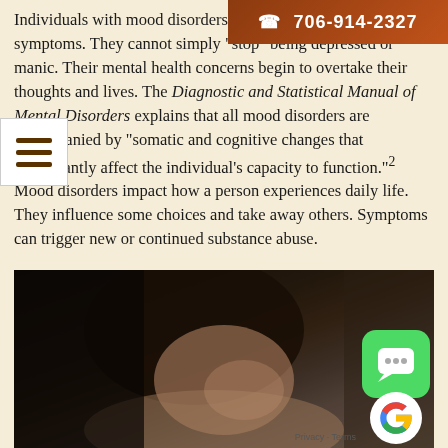706-914-2327
Individuals with mood disorders cannot control their symptoms. They cannot simply "stop" being depressed or manic. Their mental health concerns begin to overtake their thoughts and lives. The Diagnostic and Statistical Manual of Mental Disorders explains that all mood disorders are accompanied by "somatic and cognitive changes that significantly affect the individual's capacity to function."² Mood disorders impact how a person experiences daily life. They influence some choices and take away others. Symptoms can trigger new or continued substance abuse.
[Figure (photo): A woman with dark hair resting her head on her arms, looking distressed or tired, in a dark room. The photo conveys sadness and mental health struggle.]